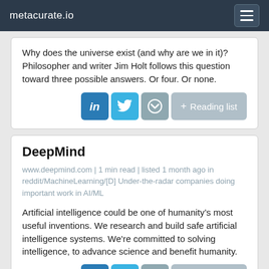metacurate.io
Why does the universe exist (and why are we in it)? Philosopher and writer Jim Holt follows this question toward three possible answers. Or four. Or none.
DeepMind
www.deepmind.com | 1 min read | listed 1 month ago in reddit/MachineLearning/[D] Under-the-radar companies doing important work in AI/ML
Artificial intelligence could be one of humanity’s most useful inventions. We research and build safe artificial intelligence systems. We're committed to solving intelligence, to advance science and benefit humanity.